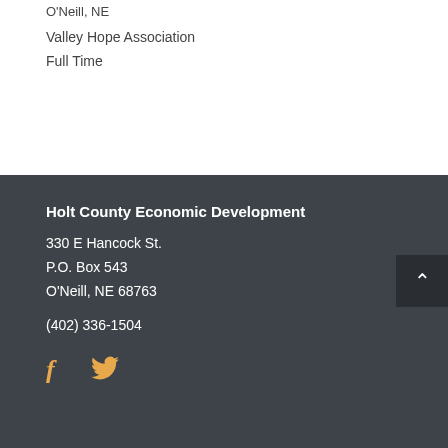O'Neill, NE
Valley Hope Association
Full Time
Holt County Economic Development
330 E Hancock St.
P.O. Box 543
O'Neill, NE 68763
(402) 336-1504
[Figure (logo): Facebook and Twitter social media icons in orange/gold color]